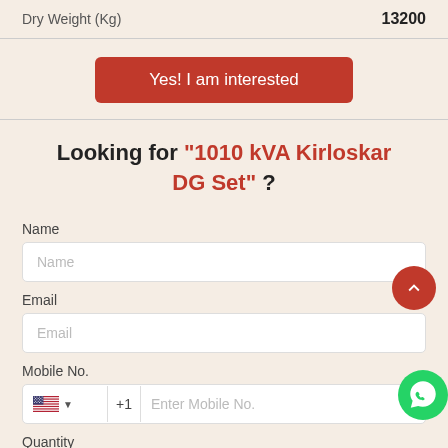| Property | Value |
| --- | --- |
| Dry Weight (Kg) | 13200 |
Yes! I am interested
Looking for "1010 kVA Kirloskar DG Set" ?
Name
Email
Mobile No.
Quantity